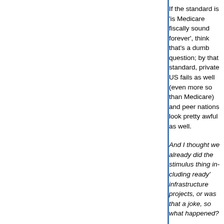If the standard is 'is Medicare fiscally sound forever', then I think that's a dumb question; by that standard, private insurance in the US fails as well (even more so than Medicare) and healthcare in peer nations look pretty awful as well.
And I thought we already did the stimulus thing including 'shovel ready' infrastructure projects, or was that a joke, so what happened?
Where I lived there was tons of road construction.
Note that the stimulus that passed Congress was smaller than the administration and private economists believed was needed. Even though, you're right: the net effect of the stimulus was muted because state and municipal governments were engaging in massive austerity at the time.
You think the current federal income tax law is OK, not a productive interaction since I think it the ultimate distraction we could conceivably face.
I knew a 35 year old guy who discovered that he likely wouldn't see his kids' 5th birthdays. That seems like the uh... taxes the way I have for the last few years: really